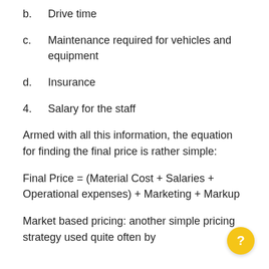b.    Drive time
c.    Maintenance required for vehicles and equipment
d.    Insurance
4.    Salary for the staff
Armed with all this information, the equation for finding the final price is rather simple:
Final Price = (Material Cost + Salaries + Operational expenses) + Marketing + Markup
Market based pricing: another simple pricing strategy used quite often by